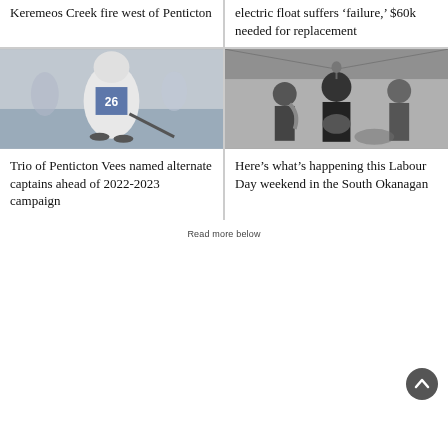Keremeos Creek fire west of Penticton
electric float suffers ‘failure,’ $60k needed for replacement
[Figure (photo): Hockey player wearing jersey number 26 skating on ice rink]
Trio of Penticton Vees named alternate captains ahead of 2022-2023 campaign
[Figure (photo): Band performing on stage, musicians playing saxophone and guitar in black and white]
Here’s what’s happening this Labour Day weekend in the South Okanagan
Read more below